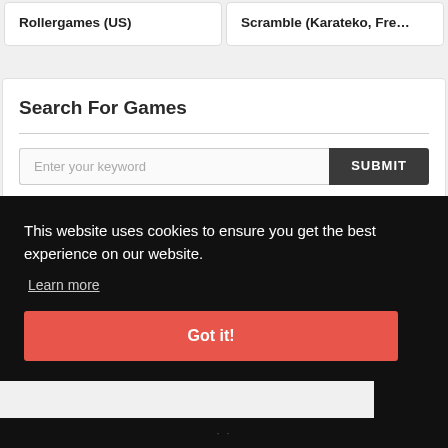Rollergames (US)
Scramble (Karateko, Fre…
Search For Games
Enter your keyword
SUBMIT
This website uses cookies to ensure you get the best experience on our website.
Learn more
Got it!